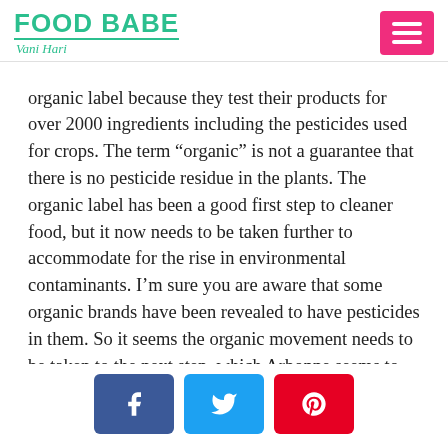FOOD BABE Vani Hari
organic label because they test their products for over 2000 ingredients including the pesticides used for crops. The term “organic” is not a guarantee that there is no pesticide residue in the plants. The organic label has been a good first step to cleaner food, but it now needs to be taken further to accommodate for the rise in environmental contaminants. I’m sure you are aware that some organic brands have been revealed to have pesticides in them. So it seems the organic movement needs to be taken to the next step, which Arbonne seems to do.